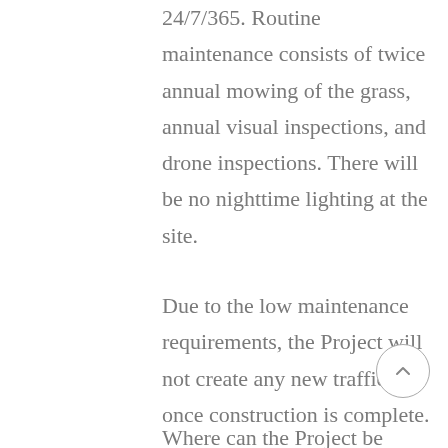24/7/365. Routine maintenance consists of twice annual mowing of the grass, annual visual inspections, and drone inspections. There will be no nighttime lighting at the site.
Due to the low maintenance requirements, the Project will not create any new traffic once construction is complete.
Where can the Project be